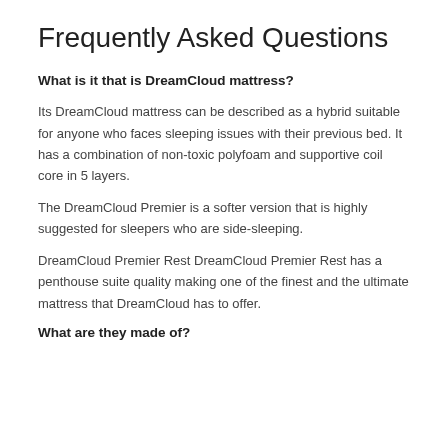Frequently Asked Questions
What is it that is DreamCloud mattress?
Its DreamCloud mattress can be described as a hybrid suitable for anyone who faces sleeping issues with their previous bed. It has a combination of non-toxic polyfoam and supportive coil core in 5 layers.
The DreamCloud Premier is a softer version that is highly suggested for sleepers who are side-sleeping.
DreamCloud Premier Rest DreamCloud Premier Rest has a penthouse suite quality making one of the finest and the ultimate mattress that DreamCloud has to offer.
What are they made of?